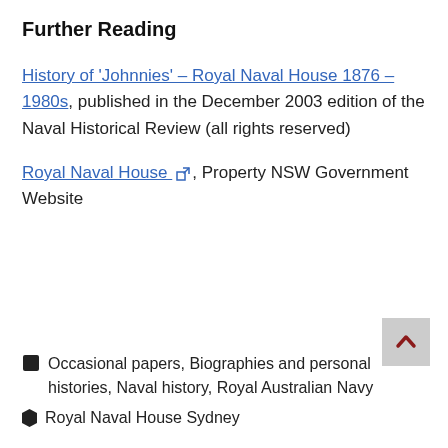Further Reading
History of 'Johnnies' – Royal Naval House 1876 – 1980s, published in the December 2003 edition of the Naval Historical Review (all rights reserved)
Royal Naval House [external link], Property NSW Government Website
🏷 Occasional papers, Biographies and personal histories, Naval history, Royal Australian Navy
🏷 Royal Naval House Sydney